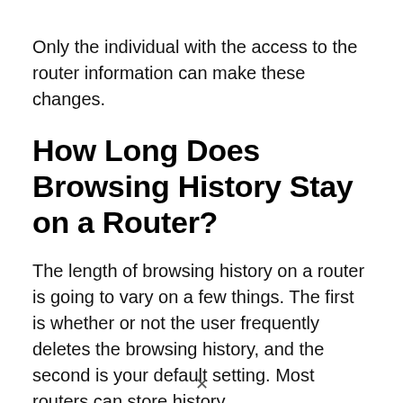Only the individual with the access to the router information can make these changes.
How Long Does Browsing History Stay on a Router?
The length of browsing history on a router is going to vary on a few things. The first is whether or not the user frequently deletes the browsing history, and the second is your default setting. Most routers can store history